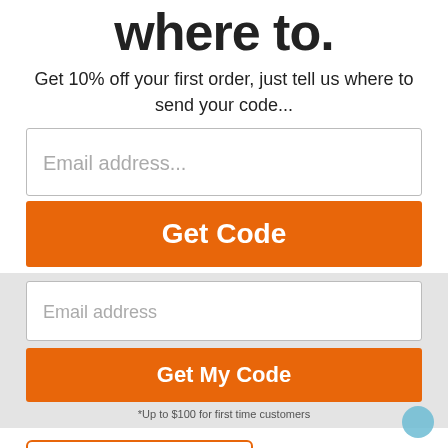where to.
Get 10% off your first order, just tell us where to send your code...
Email address...
Get Code
Email address
Get My Code
*Up to $100 for first time customers
Notify me when it's back